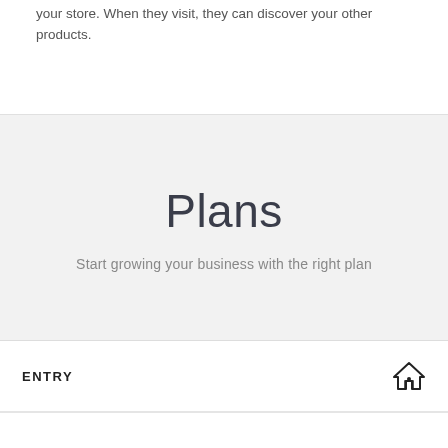your store. When they visit, they can discover your other products.
Plans
Start growing your business with the right plan
ENTRY